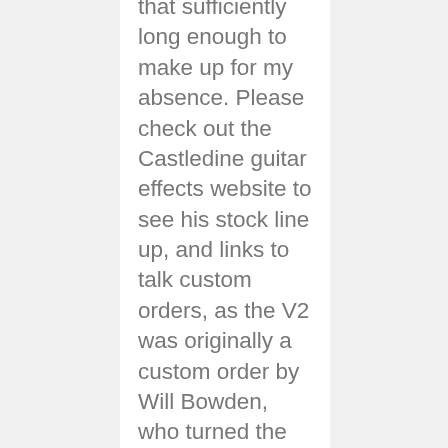that sufficiently long enough to make up for my absence. Please check out the Castledine guitar effects website to see his stock line up, and links to talk custom orders, as the V2 was originally a custom order by Will Bowden, who turned the project over to me, and Stu was humble enough to give me final say on the name, graphics, and